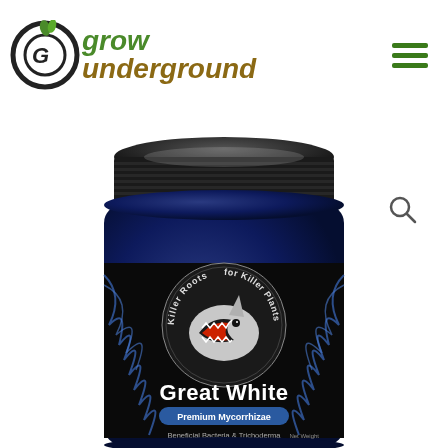[Figure (logo): Grow Underground logo with circular GU icon and green/brown italic text]
[Figure (photo): Great White Premium Mycorrhizae product jar - dark blue/navy jar with black lid, featuring a shark graphic and text 'Killer Roots for Killer Plants', 'Great White', 'Premium Mycorrhizae', 'Beneficial Bacteria & Trichoderma', Net Weight 32 oz / 907g]